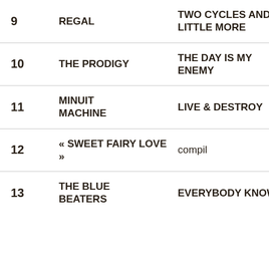| # | Artist | Album |
| --- | --- | --- |
| 9 | REGAL | TWO CYCLES AND A LITTLE MORE |
| 10 | THE PRODIGY | THE DAY IS MY ENEMY |
| 11 | MINUIT MACHINE | LIVE & DESTROY |
| 12 | « SWEET FAIRY LOVE » | compil |
| 13 | THE BLUE BEATERS | EVERYBODY KNOWS |